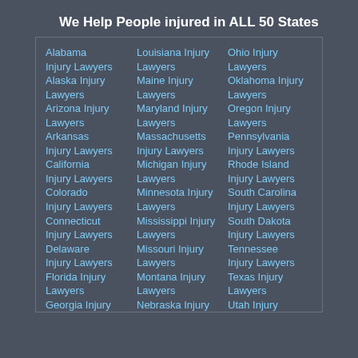We Help People injured in ALL 50 States
Alabama Injury Lawyers
Alaska Injury Lawyers
Arizona Injury Lawyers
Arkansas Injury Lawyers
California Injury Lawyers
Colorado Injury Lawyers
Connecticut Injury Lawyers
Delaware Injury Lawyers
Florida Injury Lawyers
Georgia Injury
Louisiana Injury Lawyers
Maine Injury Lawyers
Maryland Injury Lawyers
Massachusetts Injury Lawyers
Michigan Injury Lawyers
Minnesota Injury Lawyers
Mississippi Injury Lawyers
Missouri Injury Lawyers
Montana Injury Lawyers
Nebraska Injury
Ohio Injury Lawyers
Oklahoma Injury Lawyers
Oregon Injury Lawyers
Pennsylvania Injury Lawyers
Rhode Island Injury Lawyers
South Carolina Injury Lawyers
South Dakota Injury Lawyers
Tennessee Injury Lawyers
Texas Injury Lawyers
Utah Injury